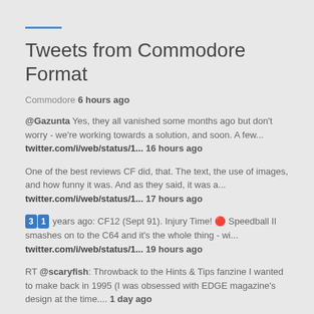Tweets from Commodore Format
Commodore 6 hours ago
@Gazunta Yes, they all vanished some months ago but don't worry - we're working towards a solution, and soon. A few... twitter.com/i/web/status/1... 16 hours ago
One of the best reviews CF did, that. The text, the use of images, and how funny it was. And as they said, it was a... twitter.com/i/web/status/1... 17 hours ago
31 years ago: CF12 (Sept 91). Injury Time! 🔴 Speedball II smashes on to the C64 and it's the whole thing - wi... twitter.com/i/web/status/1... 19 hours ago
RT @scaryfish: Throwback to the Hints & Tips fanzine I wanted to make back in 1995 (I was obsessed with EDGE magazine's design at the time.... 1 day ago